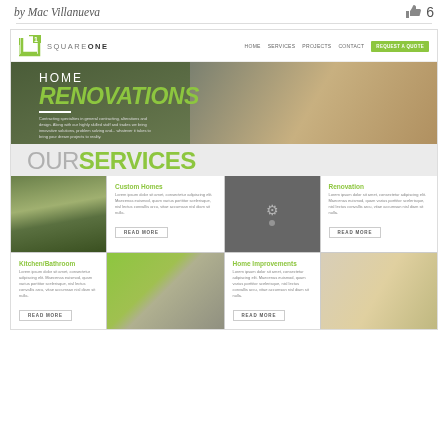by Mac Villanueva  👍 6
[Figure (screenshot): Screenshot of a home renovation contractor website called Square One. Shows navigation bar with logo, hero banner with 'HOME RENOVATIONS' text and house photo, 'OUR SERVICES' section heading, and a 2x2 grid of services: Custom Homes, Renovation, Kitchen/Bathroom, Home Improvements each with image, lorem ipsum text and READ MORE button.]